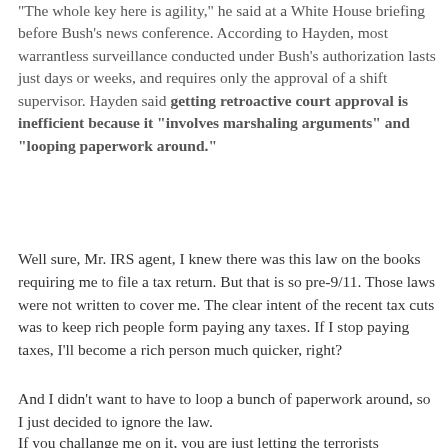"The whole key here is agility," he said at a White House briefing before Bush's news conference. According to Hayden, most warrantless surveillance conducted under Bush's authorization lasts just days or weeks, and requires only the approval of a shift supervisor. Hayden said getting retroactive court approval is inefficient because it "involves marshaling arguments" and "looping paperwork around."
Well sure, Mr. IRS agent, I knew there was this law on the books requiring me to file a tax return. But that is so pre-9/11. Those laws were not written to cover me. The clear intent of the recent tax cuts was to keep rich people form paying any taxes. If I stop paying taxes, I'll become a rich person much quicker, right?
And I didn't want to have to loop a bunch of paperwork around, so I just decided to ignore the law.
If you challange me on it, you are just letting the terrorists